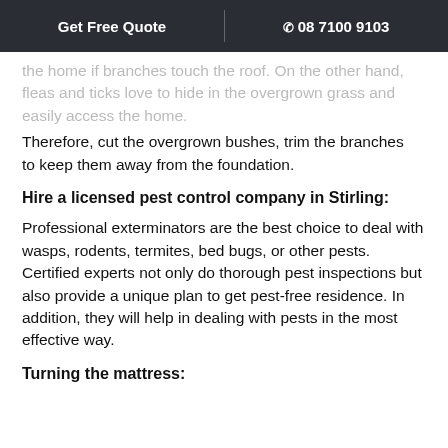Get Free Quote | 08 7100 9103
the home if branches touch the roof. On the other hand, fleas and ticks love to hide in the overgrown grass and easily access the home.
Therefore, cut the overgrown bushes, trim the branches to keep them away from the foundation.
Hire a licensed pest control company in Stirling:
Professional exterminators are the best choice to deal with wasps, rodents, termites, bed bugs, or other pests. Certified experts not only do thorough pest inspections but also provide a unique plan to get pest-free residence. In addition, they will help in dealing with pests in the most effective way.
Turning the mattress: